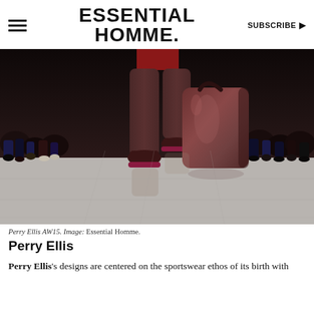ESSENTIAL HOMME. SUBSCRIBE ▶
[Figure (photo): Fashion runway photo showing a male model from the waist down, wearing dark burgundy/wine colored trousers and burgundy platform shoes, carrying a large glossy leather tote bag, walking on a marble runway with audience seated on either side.]
Perry Ellis AW15. Image: Essential Homme.
Perry Ellis
Perry Ellis's designs are centered on the sportswear ethos of its birth with